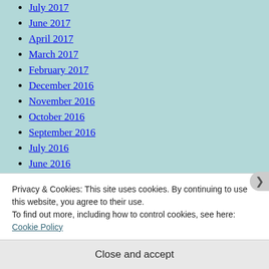July 2017
June 2017
April 2017
March 2017
February 2017
December 2016
November 2016
October 2016
September 2016
July 2016
June 2016
May 2016
Privacy & Cookies: This site uses cookies. By continuing to use this website, you agree to their use.
To find out more, including how to control cookies, see here: Cookie Policy
Close and accept